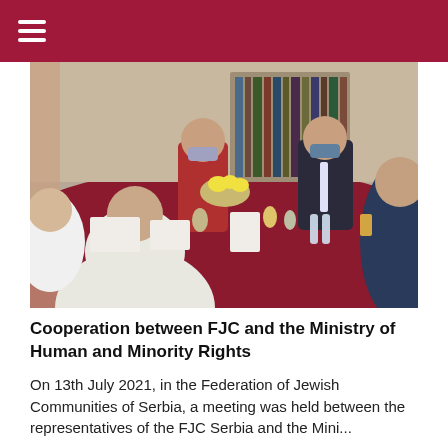[Figure (photo): People sitting around a table with a red tablecloth, wearing face masks, having a meeting. Food and drinks visible on the table.]
Cooperation between FJC and the Ministry of Human and Minority Rights
On 13th July 2021, in the Federation of Jewish Communities of Serbia, a meeting was held between the representatives of the FJC Serbia and the Mini...
DETALJNIJE